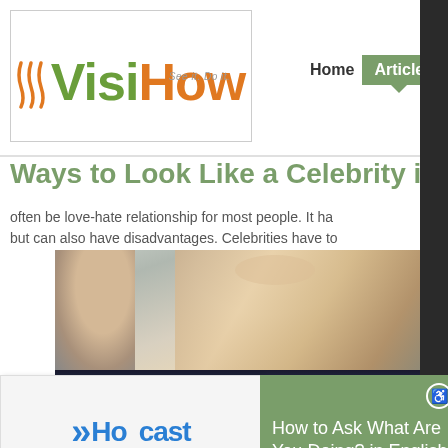[Figure (logo): VisiHow logo with tagline 'See it. Do it.' in green and orange colors]
Home  Articles
Ways to Look Like a Celebrity in E
often be love-hate relationship for most people. It ha but can also have disadvantages. Celebrities have to
[Figure (photo): Two people facing the camera, close-up portrait style]
[Figure (logo): Howcast original logo with blue arrow and text]
How to Ask What Are You Doing? in English
[Figure (photo): Person in suit, bottom portion of page]